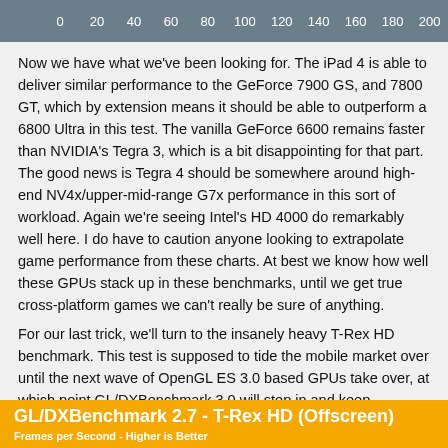[Figure (other): Partial bar chart header showing x-axis labels from 0 to 200 on a grey background]
Now we have what we've been looking for. The iPad 4 is able to deliver similar performance to the GeForce 7900 GS, and 7800 GT, which by extension means it should be able to outperform a 6800 Ultra in this test. The vanilla GeForce 6600 remains faster than NVIDIA's Tegra 3, which is a bit disappointing for that part. The good news is Tegra 4 should be somewhere around high-end NV4x/upper-mid-range G7x performance in this sort of workload. Again we're seeing Intel's HD 4000 do remarkably well here. I do have to caution anyone looking to extrapolate game performance from these charts. At best we know how well these GPUs stack up in these benchmarks, until we get true cross-platform games we can't really be sure of anything.
For our last trick, we'll turn to the insanely heavy T-Rex HD benchmark. This test is supposed to tide the mobile market over until the next wave of OpenGL ES 3.0 based GPUs take over, at which point GL/DXBenchmark 3.0 will step in and keep everyone's ego in check.
GL/DXBenchmark 2.7 - T-Rex HD (Offscreen)
Frames per Second - Higher is Better